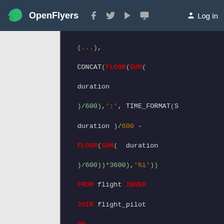OpenFlyers — navigation header with logo, social icons, and Log in
[Figure (screenshot): SQL code snippet showing a query with CONCAT, FLOOR, SUM, TIME_FORMAT, FROM flight INNER JOIN flight_pilot ON flight_pilot.flight_id = flight.id WHERE YEAR(start_date)= $year AND MONTH(start_date)= 6 AND flight_pilot.pilot_id = a.id AND flight_pilot.num = 1 AND flight.flight_type_id & $flightTypeId != 0) AS Juin, (SELECT CONCAT(FLOOR(SUM( duration )/600,':',TIME_FORMAT(S]